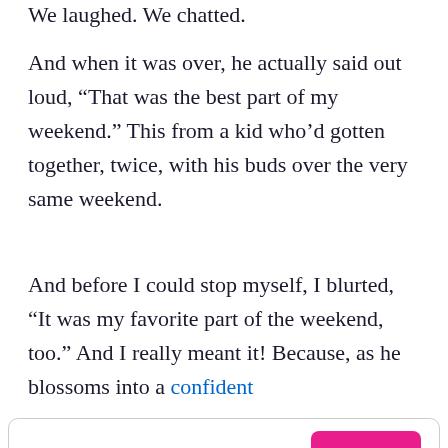We laughed. We chatted.
And when it was over, he actually said out loud, “That was the best part of my weekend.” This from a kid who’d gotten together, twice, with his buds over the very same weekend.
And before I could stop myself, I blurted, “It was my favorite part of the weekend, too.” And I really meant it! Because, as he blossoms into a confident
[Figure (other): Social sharing bar with Facebook, Twitter, Pinterest, email icons and a pink SIGN UP button]
without me. Even when he accelerates too quickly or I need to remind him to use his turn signal, or when I can’t help but nag about being “extra alert for loose dogs and unpredictable children,” I know I’ll